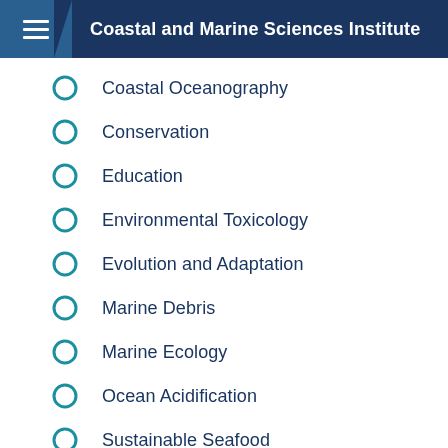Coastal and Marine Sciences Institute
Coastal Oceanography
Conservation
Education
Environmental Toxicology
Evolution and Adaptation
Marine Debris
Marine Ecology
Ocean Acidification
Sustainable Seafood
Wildlife Health